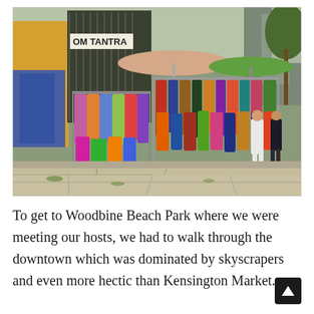[Figure (photo): Outdoor street market scene showing colorful clothing and garments hanging on wire racks along a sidewalk. A sign reading 'OM TANTRA' is visible in the upper left. Umbrellas and canopies are overhead. Two women are walking on the right side of the image. Trees and buildings are visible in the background.]
To get to Woodbine Beach Park where we were meeting our hosts, we had to walk through the downtown which was dominated by skyscrapers and even more hectic than Kensington Market.